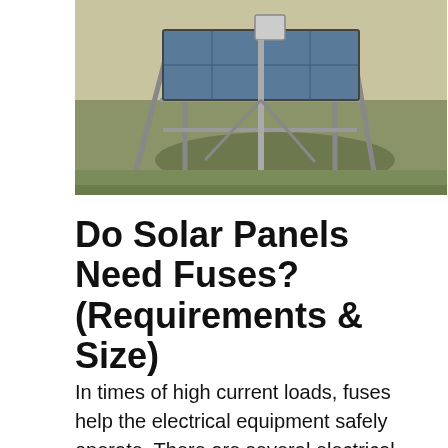[Figure (photo): Outdoor photo of a solar panel array mounted on a metal frame structure in a grassy field, with a control box/junction box visible on a pole. The ground shows dry grass and soil.]
Do Solar Panels Need Fuses? (Requirements & Size)
In times of high current loads, fuses help the electrical equipment safely operate. There are several electrical parameters, primarily – the